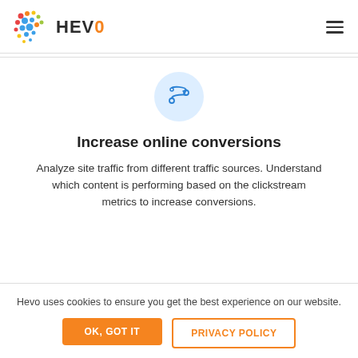[Figure (logo): Hevo Data logo with colorful dot matrix pattern and HEVO wordmark]
[Figure (illustration): Route/pipeline icon in a light blue circle — an S-curve path with nodes]
Increase online conversions
Analyze site traffic from different traffic sources. Understand which content is performing based on the clickstream metrics to increase conversions.
Hevo uses cookies to ensure you get the best experience on our website.
OK, GOT IT
PRIVACY POLICY